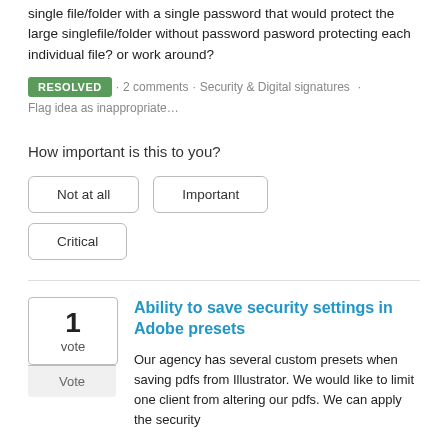single file/folder with a single password that would protect the large singlefile/folder without password pasword protecting each individual file? or work around?
RESOLVED · 2 comments · Security & Digital signatures · Flag idea as inappropriate…
How important is this to you?
Not at all
Important
Critical
1 vote
Vote
Ability to save security settings in Adobe presets
Our agency has several custom presets when saving pdfs from Illustrator. We would like to limit one client from altering our pdfs. We can apply the security